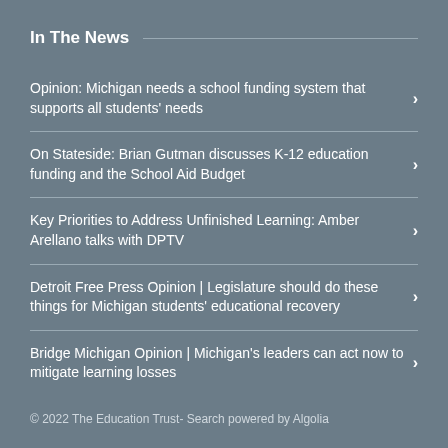In The News
Opinion: Michigan needs a school funding system that supports all students' needs
On Stateside: Brian Gutman discusses K-12 education funding and the School Aid Budget
Key Priorities to Address Unfinished Learning: Amber Arellano talks with DPTV
Detroit Free Press Opinion | Legislature should do these things for Michigan students' educational recovery
Bridge Michigan Opinion | Michigan's leaders can act now to mitigate learning losses
© 2022 The Education Trust- Search powered by Algolia